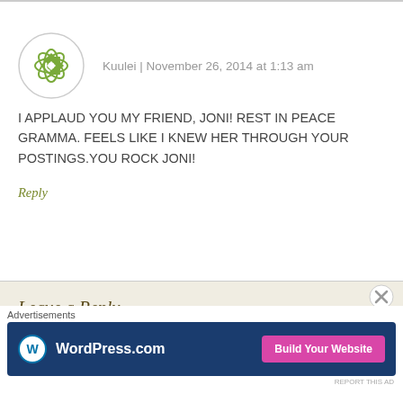Kuulei | November 26, 2014 at 1:13 am
I APPLAUD YOU MY FRIEND, JONI! REST IN PEACE GRAMMA. FEELS LIKE I KNEW HER THROUGH YOUR POSTINGS.YOU ROCK JONI!
Reply
Leave a Reply
Advertisements
[Figure (screenshot): WordPress.com advertisement banner with Build Your Website button]